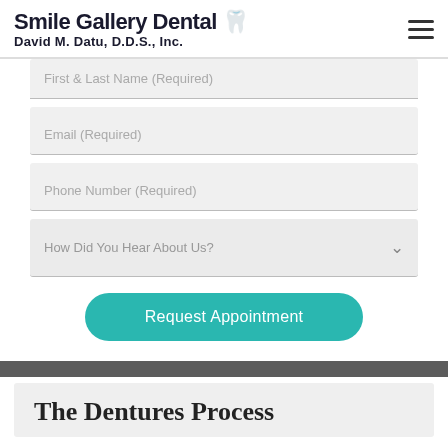Smile Gallery Dental 🦷 David M. Datu, D.D.S., Inc.
[Figure (screenshot): Web form with fields: First & Last Name (Required), Email (Required), Phone Number (Required), How Did You Hear About Us? dropdown, and a teal Request Appointment button]
The Dentures Process